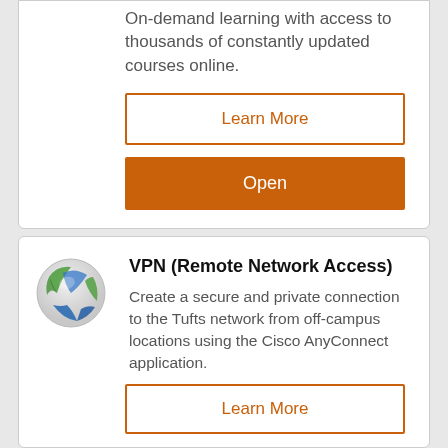On-demand learning with access to thousands of constantly updated courses online.
Learn More
Open
VPN (Remote Network Access)
Create a secure and private connection to the Tufts network from off-campus locations using the Cisco AnyConnect application.
Learn More